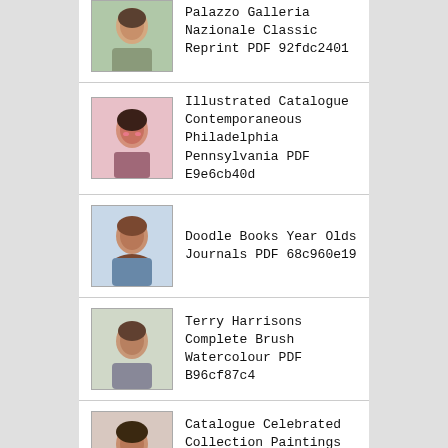Palazzo Galleria Nazionale Classic Reprint PDF 92fdc2401
Illustrated Catalogue Contemporaneous Philadelphia Pennsylvania PDF E9e6cb40d
Doodle Books Year Olds Journals PDF 68c960e19
Terry Harrisons Complete Brush Watercolour PDF B96cf87c4
Catalogue Celebrated Collection Paintings Water Colors PDF 41062c35b
Henner Classic Reprint FranA7ois Crastre PDF 2a5d4d508